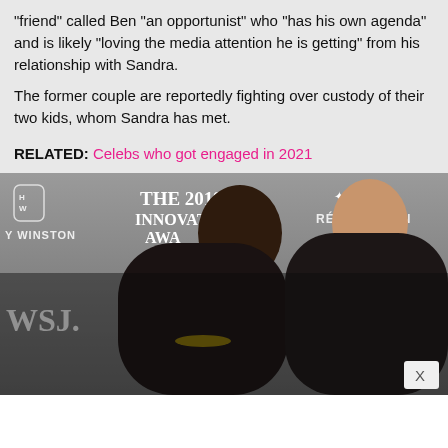"friend" called Ben "an opportunist" who "has his own agenda" and is likely "loving the media attention he is getting" from his relationship with Sandra. The former couple are reportedly fighting over custody of their two kids, whom Sandra has met.
RELATED: Celebs who got engaged in 2021
[Figure (photo): Photo of a man and woman at The 2019 Innovator Awards event, with WSJ., Harry Winston, and Rémy Martin branding visible in the background. A close button (X) is visible in the lower right corner.]